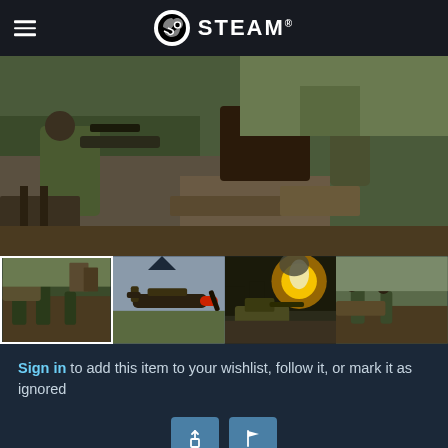STEAM®
[Figure (screenshot): Main screenshot from Iron Front Digital War Edition showing WWII soldiers with weapons in a warzone environment]
[Figure (screenshot): Thumbnail 1: soldiers advancing in battlefield with tank]
[Figure (screenshot): Thumbnail 2: WWII military aircraft (red-nosed fighter plane)]
[Figure (screenshot): Thumbnail 3: Tank firing with explosion and smoke]
[Figure (screenshot): Thumbnail 4: Soldiers in terrain, partially visible]
Sign in to add this item to your wishlist, follow it, or mark it as ignored
Buy Iron Front Digital War Edition